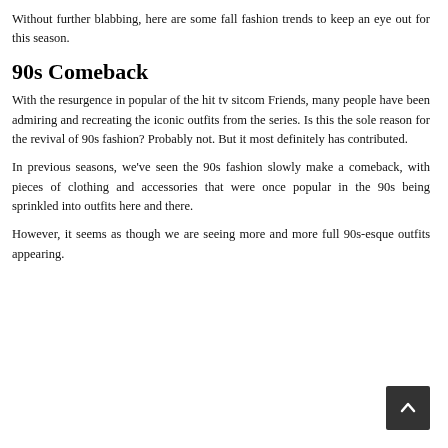Without further blabbing, here are some fall fashion trends to keep an eye out for this season.
90s Comeback
With the resurgence in popular of the hit tv sitcom Friends, many people have been admiring and recreating the iconic outfits from the series. Is this the sole reason for the revival of 90s fashion? Probably not. But it most definitely has contributed.
In previous seasons, we've seen the 90s fashion slowly make a comeback, with pieces of clothing and accessories that were once popular in the 90s being sprinkled into outfits here and there.
However, it seems as though we are seeing more and more full 90s-esque outfits appearing.